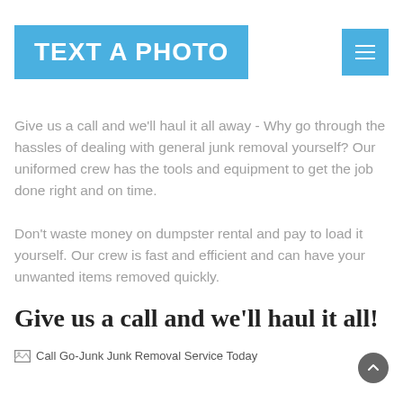TEXT A PHOTO
Give us a call and we'll haul it all away - Why go through the hassles of dealing with general junk removal yourself? Our uniformed crew has the tools and equipment to get the job done right and on time.
Don't waste money on dumpster rental and pay to load it yourself. Our crew is fast and efficient and can have your unwanted items removed quickly.
Give us a call and we'll haul it all!
[Figure (other): Broken image placeholder labeled 'Call Go-Junk Junk Removal Service Today']